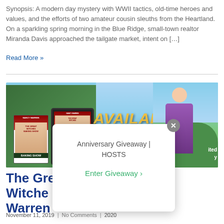Synopsis: A modern day mystery with WWII tactics, old-time heroes and values, and the efforts of two amateur cousin sleuths from the Heartland. On a sparkling spring morning in the Blue Ridge, small-town realtor Miranda Davis approached the tailgate market, intent on […]
Read More »
[Figure (illustration): Book promotion banner with 'AVAILABLE' text, woman on right, book covers on left showing 'The Great Witches Baking Show' by Nancy Warren, with a popup overlay showing 'Anniversary Giveaway | HOSTS' and 'Enter Giveaway >' link]
Anniversary Giveaway | HOSTS
Enter Giveaway >
The Great Witche... Warren
November 11, 2019 | No Comments | 2020